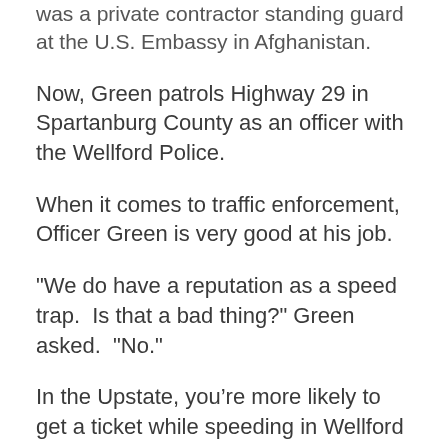was a private contractor standing guard at the U.S. Embassy in Afghanistan.
Now, Green patrols Highway 29 in Spartanburg County as an officer with the Wellford Police.
When it comes to traffic enforcement, Officer Green is very good at his job.
"We do have a reputation as a speed trap.  Is that a bad thing?" Green asked.  "No."
In the Upstate, you’re more likely to get a ticket while speeding in Wellford than anywhere else.
7News used court surcharges to calculate the number of tickets written in every city, county